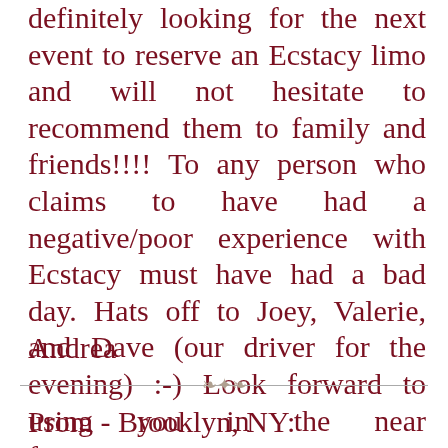definitely looking for the next event to reserve an Ecstacy limo and will not hesitate to recommend them to family and friends!!!! To any person who claims to have had a negative/poor experience with Ecstacy must have had a bad day. Hats off to Joey, Valerie, and Dave (our driver for the evening) :-) Look forward to using you in the near future!!!!!!!!
Andrea
Prom - Brooklyn, NY: